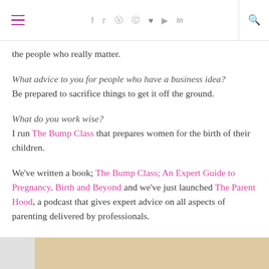Navigation bar with hamburger menu, social icons (f, twitter, instagram, pinterest, heart, youtube, in), and search icon
the people who really matter.
What advice to you for people who have a business idea?
Be prepared to sacrifice things to get it off the ground.
What do you work wise?
I run The Bump Class that prepares women for the birth of their children.
We've written a book; The Bump Class; An Expert Guide to Pregnancy, Birth and Beyond and we've just launched The Parent Hood, a podcast that gives expert advice on all aspects of parenting delivered by professionals.
[Figure (photo): Partial image strip at the bottom showing a light beige/tan background, partially cut off]